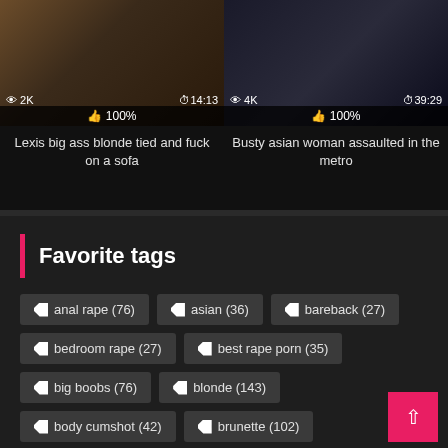[Figure (screenshot): Video thumbnail left - Lexis big ass blonde tied and fuck on a sofa, 2K views, 14:13 duration, 100% likes]
Lexis big ass blonde tied and fuck on a sofa
[Figure (screenshot): Video thumbnail right - Busty asian woman assaulted in the metro, 4K views, 39:29 duration, 100% likes]
Busty asian woman assaulted in the metro
Favorite tags
anal rape (76)
asian (36)
bareback (27)
bedroom rape (27)
best rape porn (35)
big boobs (76)
blonde (143)
body cumshot (42)
brunette (102)